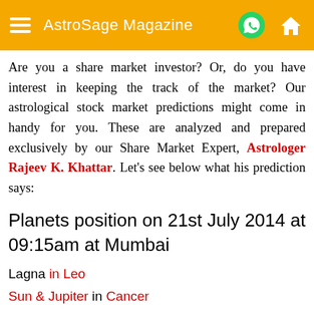AstroSage Magazine
Are you a share market investor? Or, do you have interest in keeping the track of the market? Our astrological stock market predictions might come in handy for you. These are analyzed and prepared exclusively by our Share Market Expert, Astrologer Rajeev K. Khattar. Let's see below what his prediction says:
Planets position on 21st July 2014 at 09:15am at Mumbai
Lagna in Leo
Sun & Jupiter in Cancer